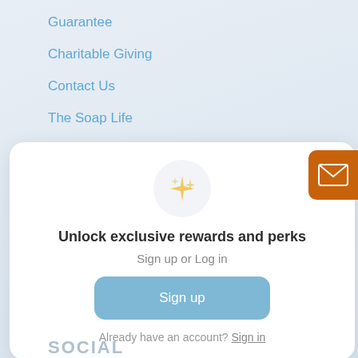Guarantee
Charitable Giving
Contact Us
The Soap Life
Museum
[Figure (screenshot): Modal dialog with sparkle icon, title 'Unlock exclusive rewards and perks', subtitle 'Sign up or Log in', a Sign up button, and 'Already have an account? Sign in' text]
SOCIAL